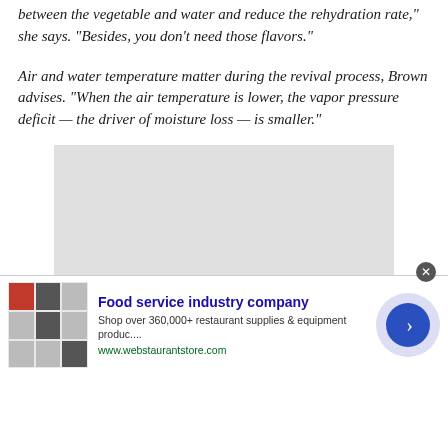between the vegetable and water and reduce the rehydration rate," she says. "Besides, you don't need those flavors."
Air and water temperature matter during the revival process, Brown advises. "When the air temperature is lower, the vapor pressure deficit — the driver of moisture loss — is smaller."
[Figure (photo): Large light gray rectangular placeholder image]
Food service industry company
Shop over 360,000+ restaurant supplies & equipment produc....
www.webstaurantstore.com